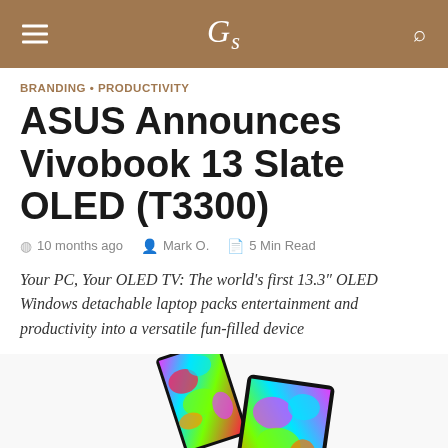Gs
BRANDING • PRODUCTIVITY
ASUS Announces Vivobook 13 Slate OLED (T3300)
10 months ago  Mark O.  5 Min Read
Your PC, Your OLED TV: The world's first 13.3″ OLED Windows detachable laptop packs entertainment and productivity into a versatile fun-filled device
[Figure (photo): Product photo of ASUS Vivobook 13 Slate OLED (T3300) showing two tablet devices with colorful splash art on the screens, partially cropped at the bottom of the page]